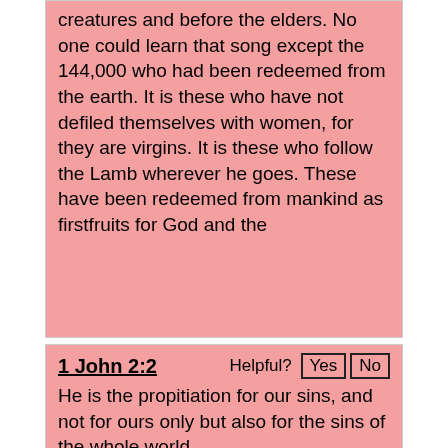creatures and before the elders. No one could learn that song except the 144,000 who had been redeemed from the earth. It is these who have not defiled themselves with women, for they are virgins. It is these who follow the Lamb wherever he goes. These have been redeemed from mankind as firstfruits for God and the
1 John 2:2
He is the propitiation for our sins, and not for ours only but also for the sins of the whole world.
1 Corinthians 7:23
You were bought with a price; do not become slaves of men.